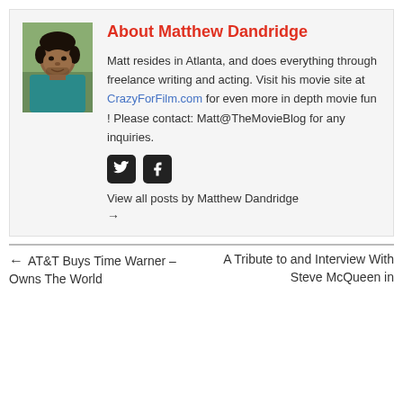[Figure (photo): Profile photo of Matthew Dandridge, a young man wearing a teal shirt, outdoors with greenery in background]
About Matthew Dandridge
Matt resides in Atlanta, and does everything through freelance writing and acting. Visit his movie site at CrazyForFilm.com for even more in depth movie fun ! Please contact: Matt@TheMovieBlog for any inquiries.
[Figure (other): Twitter and Facebook social media icons (black rounded square buttons)]
View all posts by Matthew Dandridge →
← AT&T Buys Time Warner – Owns The World
A Tribute to and Interview With Steve McQueen in